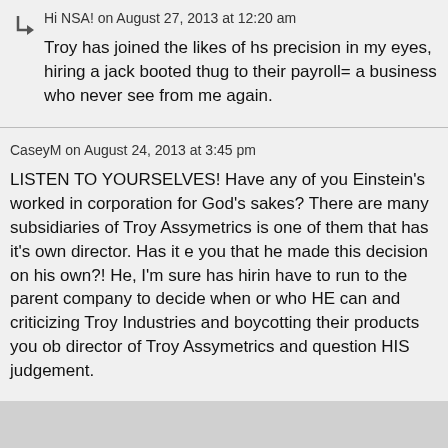Hi NSA! on August 27, 2013 at 12:20 am
Troy has joined the likes of hs precision in my eyes, hiring a jack booted thug to their payroll= a business who never see from me again.
CaseyM on August 24, 2013 at 3:45 pm
LISTEN TO YOURSELVES! Have any of you Einstein's worked in corporation for God's sakes? There are many subsidiaries of Troy Assymetrics is one of them that has it's own director. Has it e you that he made this decision on his own?! He, I'm sure has hirin have to run to the parent company to decide when or who HE can and criticizing Troy Industries and boycotting their products you ob director of Troy Assymetrics and question HIS judgement.